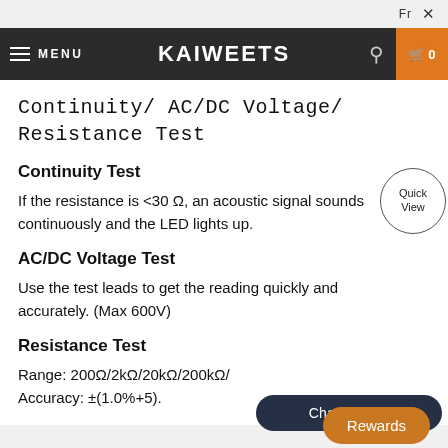Fr X
MENU  KAIWEETS  0
Continuity/ AC/DC Voltage/ Resistance Test
Continuity Test
If the resistance is <30 Ω, an acoustic signal sounds continuously and the LED lights up.
AC/DC Voltage Test
Use the test leads to get the reading quickly and accurately. (Max 600V)
Resistance Test
Range: 200Ω/2kΩ/20kΩ/200kΩ/
Accuracy: ±(1.0%+5).